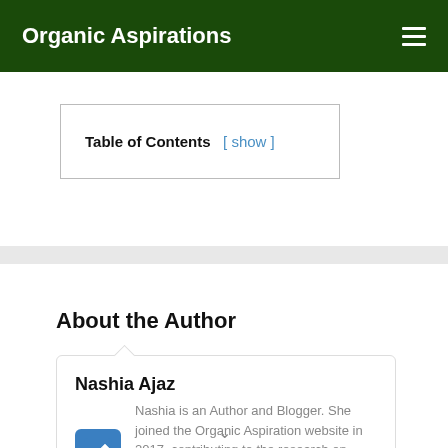Organic Aspirations
| Table of Contents | [ show ] |
| --- | --- |
About the Author
Nashia Ajaz
Nashia is an Author and Blogger. She joined the Organic Aspiration website in 2017, contributing to the research on organic